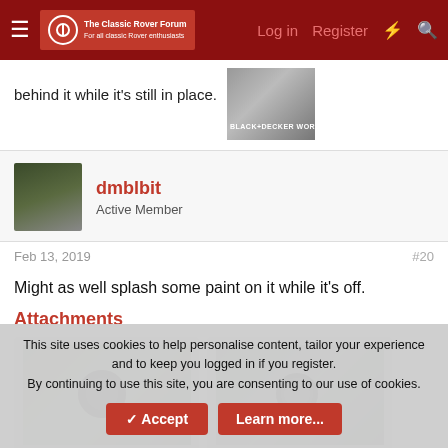The Classic Rover Forum | Log in | Register
behind it while it's still in place.
[Figure (photo): Partial view of a photo showing what appears to be a Black & Decker workbench or tool in background]
dmblbit
Active Member
Feb 13, 2019
#20
Might as well splash some paint on it while it's off.
Attachments
[Figure (photo): Photo of a car part (circular/disc component) on a metal surface - before painting]
[Figure (photo): Photo of a car part (circular/disc component) on a metal surface - after painting]
This site uses cookies to help personalise content, tailor your experience and to keep you logged in if you register.
By continuing to use this site, you are consenting to our use of cookies.
Accept
Learn more...